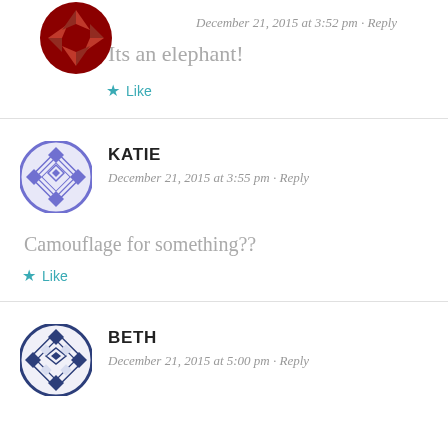Its an elephant!
★ Like
KATIE
December 21, 2015 at 3:55 pm · Reply
Camouflage for something??
★ Like
BETH
December 21, 2015 at 5:00 pm · Reply